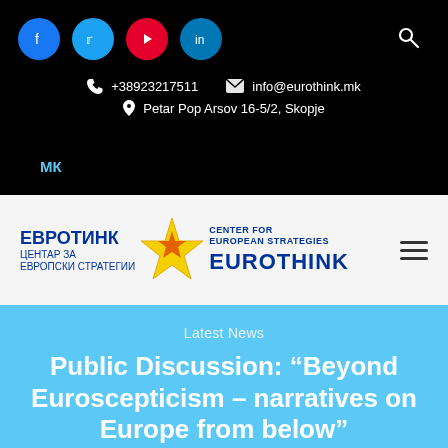Social icons: Facebook, Twitter, YouTube, LinkedIn | Search
+38923217511   info@eurothink.mk   Petar Pop Arsov 16-5/2, Skopje
МК
[Figure (logo): Eurothink - Center for European Strategies logo with Cyrillic and Latin text and star graphic]
Latest News
Public Discussion: “Beyond Euroscepticism – narratives on Europe from below”